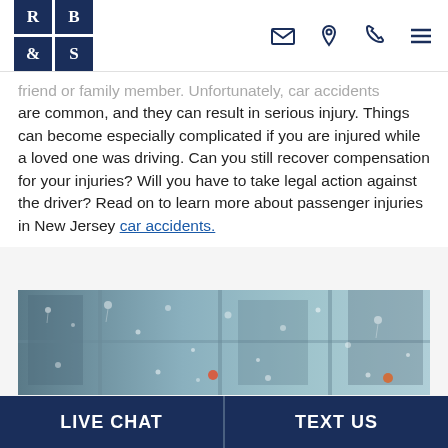RB&S logo with navigation icons
friend or family member. Unfortunately, car accidents are common, and they can result in serious injury. Things can become especially complicated if you are injured while a loved one was driving. Can you still recover compensation for your injuries? Will you have to take legal action against the driver? Read on to learn more about passenger injuries in New Jersey car accidents.
[Figure (photo): A rain-covered car window with blurry city street and traffic lights visible through the droplets]
LIVE CHAT | TEXT US